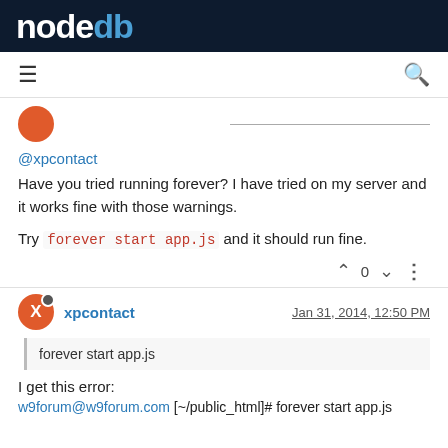nodebb
@xpcontact
Have you tried running forever? I have tried on my server and it works fine with those warnings.
Try forever start app.js and it should run fine.
xpcontact  Jan 31, 2014, 12:50 PM
forever start app.js
I get this error:
w9forum@w9forum.com [~/public_html]# forever start app.js